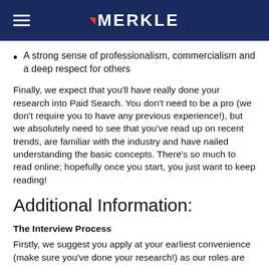MERKLE
A strong sense of professionalism, commercialism and a deep respect for others
Finally, we expect that you'll have really done your research into Paid Search. You don't need to be a pro (we don't require you to have any previous experience!), but we absolutely need to see that you've read up on recent trends, are familiar with the industry and have nailed understanding the basic concepts. There's so much to read online; hopefully once you start, you just want to keep reading!
Additional Information:
The Interview Process
Firstly, we suggest you apply at your earliest convenience (make sure you've done your research!) as our roles are